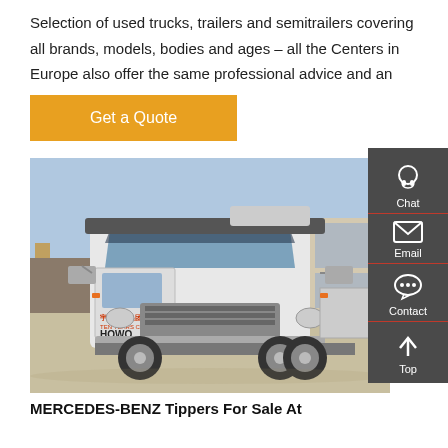Selection of used trucks, trailers and semitrailers covering all brands, models, bodies and ages – all the Centers in Europe also offer the same professional advice and an
Get a Quote
[Figure (photo): White HOWO truck tractor (semi-truck cab) parked in a yard with industrial buildings in the background.]
MERCEDES-BENZ Tippers For Sale At